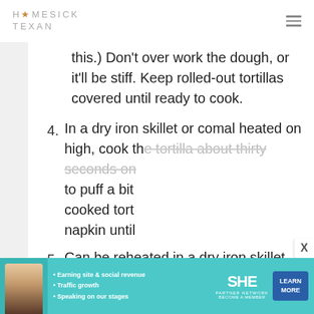HOMESICK TEXAN
this.) Don't over work the dough, or it'll be stiff. Keep rolled-out tortillas covered until ready to cook.
4. In a dry iron skillet or comal heated on high, cook the tortilla about thirty seconds on each side, or until it starts to puff a bit and brown slightly. Keep cooked tortillas warm by wrapping in a napkin until ready to serve.
5. Can be reheated in a dry iron skillet, over your gas-burner flame or in the
[Figure (other): SHE Partner Network advertisement banner with woman photo, bullet points about earning site & social revenue, traffic growth, speaking on our stages, SHE logo, and LEARN MORE button]